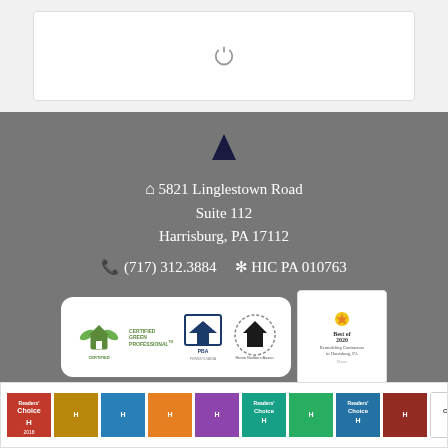[Figure (screenshot): White box with power/loading icon in a gray background, top section of a webpage]
5821 Linglestown Road Suite 112 Harrisburg, PA 17112
(717) 312.3884   HIC PA 010763
[Figure (logo): Certified Green Professional logo, Pennsylvania Builders Association logo, Home Builders Association logo, and Best of 2020 Remodeling Contractors in Harrisburg PA badge]
[Figure (other): Strip of Readers Choice and other award badges at the bottom]